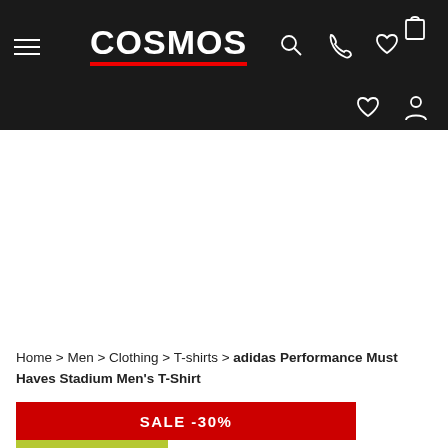[Figure (screenshot): Cosmos sport retail website header with dark background, hamburger menu, COSMOS logo with red underline, search icon, phone icon, heart/wishlist icon, shopping bag icon at top right, and two more icons (heart, person) at bottom right of header]
Home > Men > Clothing > T-shirts > adidas Performance Must Haves Stadium Men's T-Shirt
SALE -30%